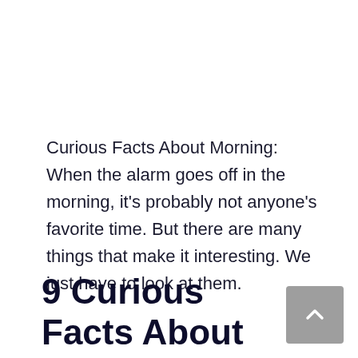Curious Facts About Morning: When the alarm goes off in the morning, it's probably not anyone's favorite time. But there are many things that make it interesting. We just have to look at them.
9 Curious Facts About Morning